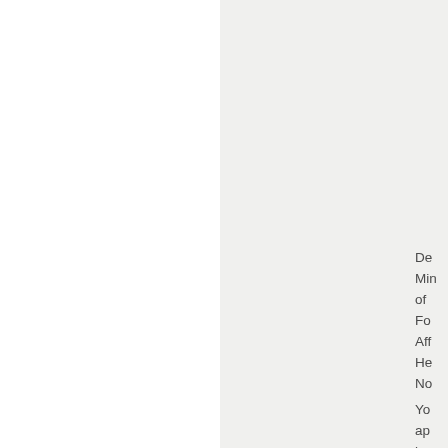De
Min
of
Fo
Aff
He
No
Yo
ap
has
bo